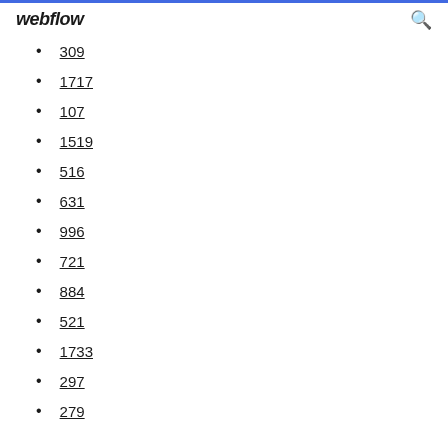webflow
309
1717
107
1519
516
631
996
721
884
521
1733
297
279